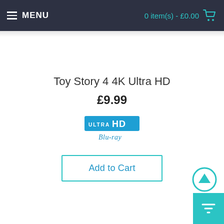MENU | 0 item(s) - £0.00
Toy Story 4 4K Ultra HD
£9.99
[Figure (logo): Ultra HD Blu-ray logo badge]
Add to Cart